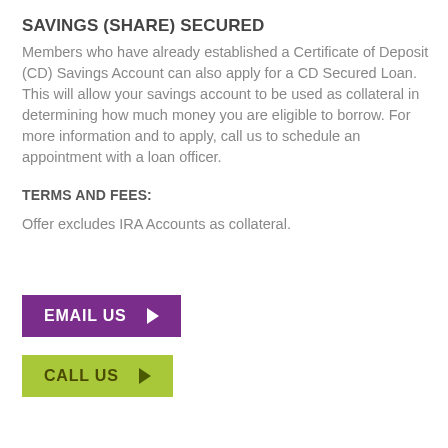SAVINGS (SHARE) SECURED
Members who have already established a Certificate of Deposit (CD) Savings Account can also apply for a CD Secured Loan. This will allow your savings account to be used as collateral in determining how much money you are eligible to borrow. For more information and to apply, call us to schedule an appointment with a loan officer.
TERMS AND FEES:
Offer excludes IRA Accounts as collateral.
[Figure (other): Purple button with text EMAIL US and right-pointing arrow]
[Figure (other): Yellow-green button with text CALL US and right-pointing arrow]